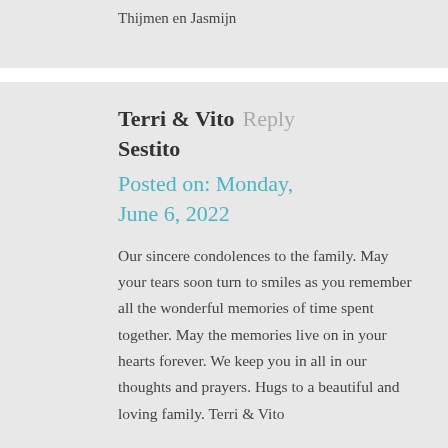Thijmen en Jasmijn
Terri & Vito Sestito
Posted on: Monday, June 6, 2022
Our sincere condolences to the family. May your tears soon turn to smiles as you remember all the wonderful memories of time spent together. May the memories live on in your hearts forever. We keep you in all in our thoughts and prayers. Hugs to a beautiful and loving family. Terri & Vito